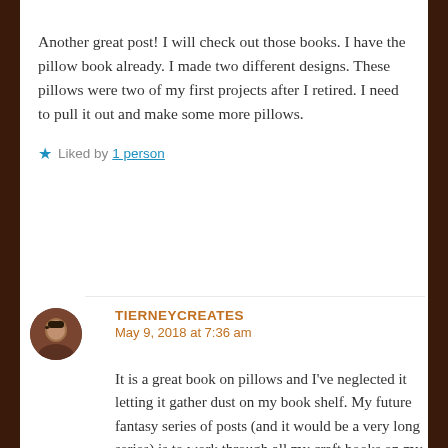Another great post! I will check out those books. I have the pillow book already. I made two different designs. These pillows were two of my first projects after I retired. I need to pull it out and make some more pillows.
★ Liked by 1 person
TIERNEYCREATES
May 9, 2018 at 7:36 am
It is a great book on pillows and I've neglected it letting it gather dust on my book shelf. My future fantasy series of posts (and it would be a very long series) is to work through all my craft books on my shelves and make at least one project from each book! I could take up years